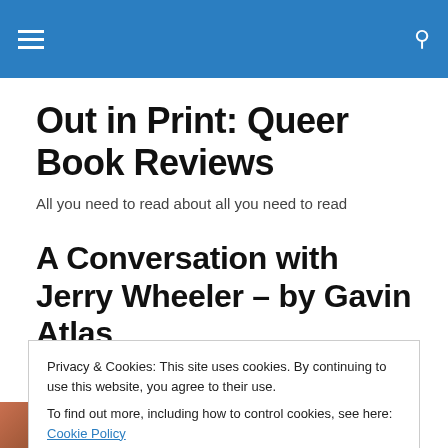≡  🔍
Out in Print: Queer Book Reviews
All you need to read about all you need to read
A Conversation with Jerry Wheeler – by Gavin Atlas
Privacy & Cookies: This site uses cookies. By continuing to use this website, you agree to their use.
To find out more, including how to control cookies, see here: Cookie Policy
[Close and accept]
[Figure (photo): Partial photo of a person, cropped at the bottom of the page]